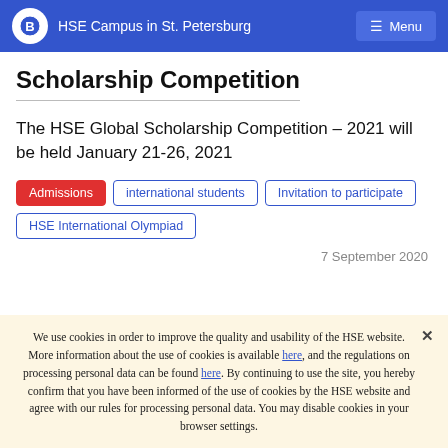HSE Campus in St. Petersburg
Scholarship Competition
The HSE Global Scholarship Competition – 2021 will be held January 21-26, 2021
Admissions
international students
Invitation to participate
HSE International Olympiad
7 September 2020
We use cookies in order to improve the quality and usability of the HSE website. More information about the use of cookies is available here, and the regulations on processing personal data can be found here. By continuing to use the site, you hereby confirm that you have been informed of the use of cookies by the HSE website and agree with our rules for processing personal data. You may disable cookies in your browser settings.